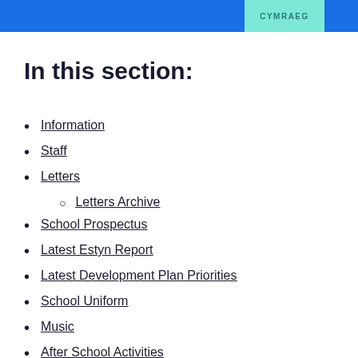CYMRAEG
In this section:
Information
Staff
Letters
Letters Archive
School Prospectus
Latest Estyn Report
Latest Development Plan Priorities
School Uniform
Music
After School Activities
School Council